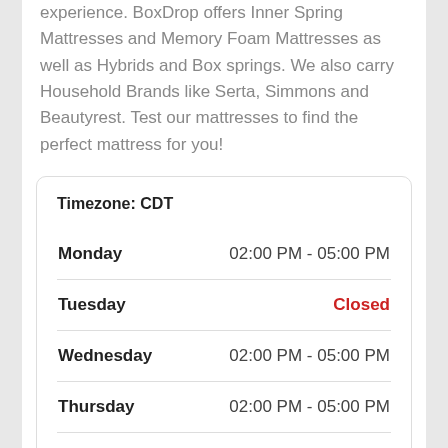experience. BoxDrop offers Inner Spring Mattresses and Memory Foam Mattresses as well as Hybrids and Box springs. We also carry Household Brands like Serta, Simmons and Beautyrest. Test our mattresses to find the perfect mattress for you!
| Day | Hours |
| --- | --- |
| Timezone: CDT |  |
| Monday | 02:00 PM - 05:00 PM |
| Tuesday | Closed |
| Wednesday | 02:00 PM - 05:00 PM |
| Thursday | 02:00 PM - 05:00 PM |
| Friday | 11:00 AM - 02:00 PM |
| Saturday | 11:00 AM - 01:00 PM |